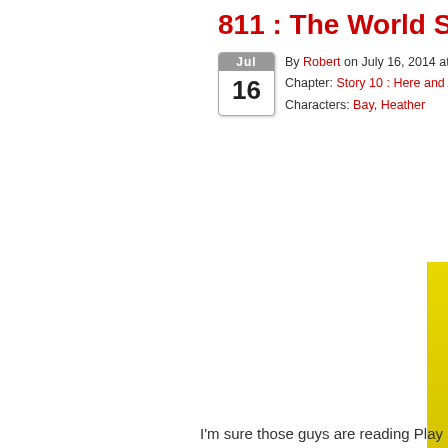811 : The World Stops
By Robert on July 16, 2014 at 12:2
Chapter: Story 10 : Here and After
Characters: Bay, Heather
I'm sure those guys are reading Play